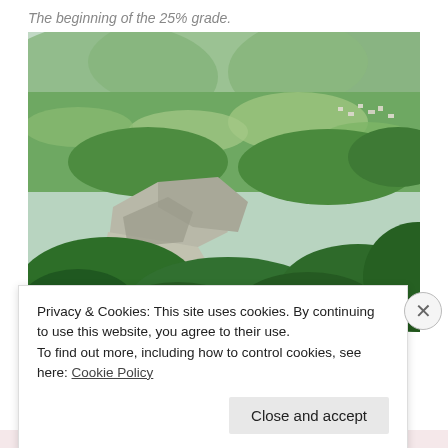The beginning of the 25% grade.
[Figure (photo): Aerial or elevated view of a mountainous landscape with green forested hills, rocky cliffs, terraced fields, and scattered buildings in the distance. The scene shows a steep valley with lush vegetation and exposed limestone rock faces.]
Privacy & Cookies: This site uses cookies. By continuing to use this website, you agree to their use.
To find out more, including how to control cookies, see here: Cookie Policy
Close and accept